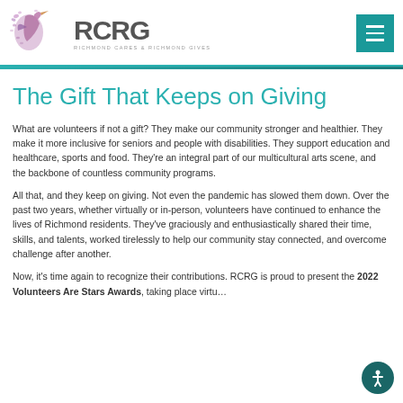[Figure (logo): RCRG Richmond Cares Richmond Gives logo with heron bird and butterflies in purple/pink tones]
The Gift That Keeps on Giving
What are volunteers if not a gift? They make our community stronger and healthier. They make it more inclusive for seniors and people with disabilities. They support education and healthcare, sports and food. They're an integral part of our multicultural arts scene, and the backbone of countless community programs.
All that, and they keep on giving. Not even the pandemic has slowed them down. Over the past two years, whether virtually or in-person, volunteers have continued to enhance the lives of Richmond residents. They've graciously and enthusiastically shared their time, skills, and talents, worked tirelessly to help our community stay connected, and overcome challenge after another.
Now, it's time again to recognize their contributions. RCRG is proud to present the 2022 Volunteers Are Stars Awards, taking place virtually...